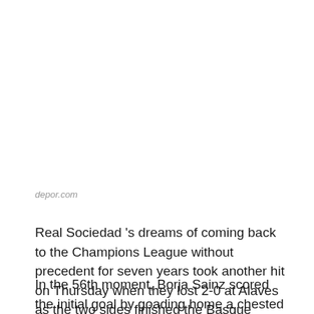depor.com
Real Sociedad 's dreams of coming back to the Champions League without precedent for seven years took another hit on Thursday when they lost 2-0 at Alaves as the two sides finished the Basque derby behind closed doors with 10 players.
In the 56th moment, Borja Sainz scored the initial goal by goading home a chested pass from Lisandro Magellan yet